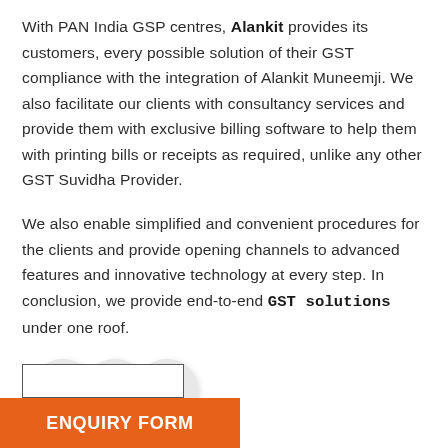With PAN India GSP centres, Alankit provides its customers, every possible solution of their GST compliance with the integration of Alankit Muneemji. We also facilitate our clients with consultancy services and provide them with exclusive billing software to help them with printing bills or receipts as required, unlike any other GST Suvidha Provider.
We also enable simplified and convenient procedures for the clients and provide opening channels to advanced features and innovative technology at every step. In conclusion, we provide end-to-end GST solutions under one roof.
[Figure (other): Three overlapping circular social media icon buttons in light grey]
[Figure (other): An enquiry form input box (partially visible) above an orange ENQUIRY FORM bar at the bottom]